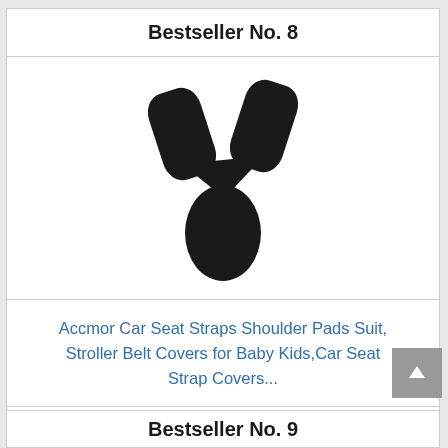Bestseller No. 8
[Figure (photo): Black car seat strap shoulder pads set showing two shoulder pad covers and one crotch pad cover arranged in a harness shape on white background.]
Accmor Car Seat Straps Shoulder Pads Suit, Stroller Belt Covers for Baby Kids,Car Seat Strap Covers...
Buy on Amazon
Bestseller No. 9